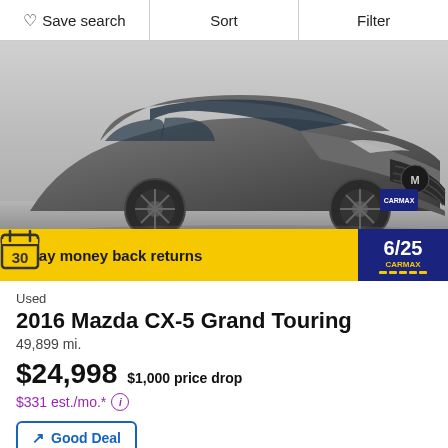Save search | Sort | Filter
[Figure (photo): Gray 2016 Mazda CX-5 Grand Touring SUV photographed from front-left angle in a showroom with a CarMax license plate. Yellow banner at bottom reads '30-day money back returns' with a calendar icon showing 30.]
Used
2016 Mazda CX-5 Grand Touring
49,899 mi.
$24,998  $1,000 price drop
$331 est./mo.*
Good Deal
Free AutoCheck Report ↗